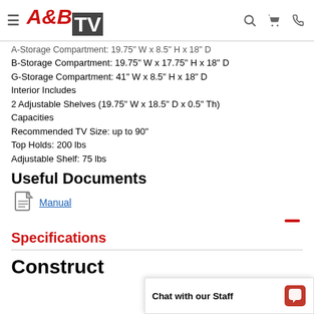A&B TV
A-Storage Compartment: 19.75" W x 8.5" H x 18" D
B-Storage Compartment: 19.75" W x 17.75" H x 18" D
G-Storage Compartment: 41" W x 8.5" H x 18" D
Interior Includes
2 Adjustable Shelves (19.75" W x 18.5" D x 0.5" Th)
Capacities
Recommended TV Size: up to 90"
Top Holds: 200 lbs
Adjustable Shelf: 75 lbs
Useful Documents
Manual
Specifications
Construct